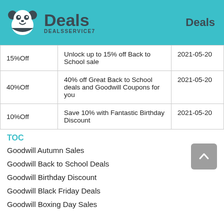Deals  DEALSSERVICE7  Deals
| Discount | Description | Date |
| --- | --- | --- |
| 15%Off | Unlock up to 15% off Back to School sale | 2021-05-20 |
| 40%Off | 40% off Great Back to School deals and Goodwill Coupons for you | 2021-05-20 |
| 10%Off | Save 10% with Fantastic Birthday Discount | 2021-05-20 |
TOC
Goodwill Autumn Sales
Goodwill Back to School Deals
Goodwill Birthday Discount
Goodwill Black Friday Deals
Goodwill Boxing Day Sales